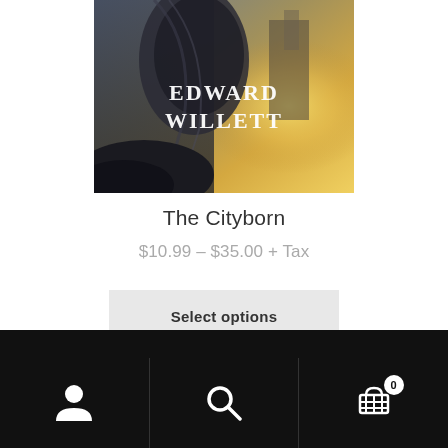[Figure (illustration): Book cover for The Cityborn by Edward Willett showing a dramatic fantasy scene with large mechanical or stone structure and bright light, author name in serif font overlay]
The Cityborn
$10.99 – $35.00 + Tax
Select options
Navigation bar with user icon, search icon, and cart icon with badge showing 0